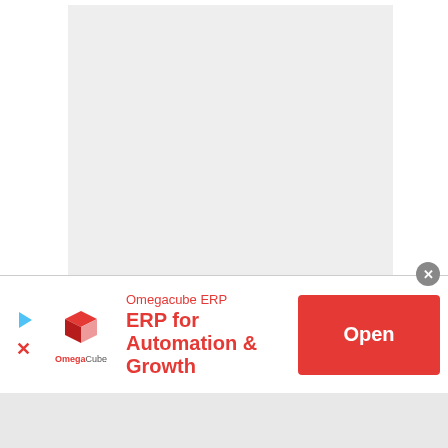[Figure (screenshot): A mostly blank light gray document panel on a white background, representing a document viewer with no visible content loaded.]
[Figure (infographic): Advertisement banner for Omegacube ERP. Contains the Omegacube logo (3D cube icon), company name 'Omegacube ERP', headline 'ERP for Automation & Growth', and a red 'Open' button. A close (X) circle button appears at top-right of the banner. Left side has a light blue play arrow icon and a red X icon.]